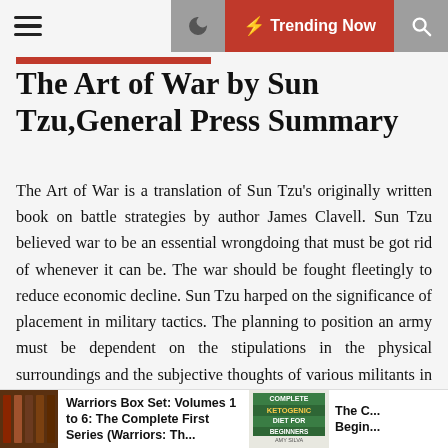≡  🌙  ⚡ Trending Now  🔍
The Art of War by Sun Tzu,General Press Summary
The Art of War is a translation of Sun Tzu's originally written book on battle strategies by author James Clavell. Sun Tzu believed war to be an essential wrongdoing that must be got rid of whenever it can be. The war should be fought fleetingly to reduce economic decline. Sun Tzu harped on the significance of placement in military tactics. The planning to position an army must be dependent on the stipulations in the physical surroundings and the subjective thoughts of various militants in those conditions. He believed that strategy cannot be considered as planning with respect to glancing through a previously decided list. It is better represented by the fact that it needs speedy and suitable reactions to altering situations. Planning gives results in restrained surroundings. But in case of an altering environment, similar plans come in each other's
Warriors Box Set: Volumes 1 to 6: The Complete First Series (Warriors: Th...  |  The C... Begin...